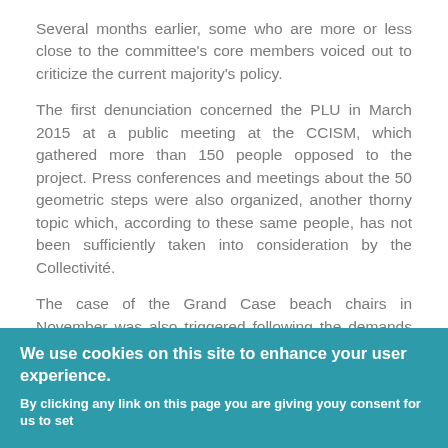Several months earlier, some who are more or less close to the committee's core members voiced out to criticize the current majority's policy.
The first denunciation concerned the PLU in March 2015 at a public meeting at the CCISM, which gathered more than 150 people opposed to the project. Press conferences and meetings about the 50 geometric steps were also organized, another thorny topic which, according to these same people, has not been sufficiently taken into consideration by the Collectivité.
The case of the Grand Case beach chairs in November was also triggered following the demands from Grand Case residents, some of whom are active committee members. More recently, the Orient Bay carbets provided yet another opportunity to denounce current officials' policy.
We use cookies on this site to enhance your user experience.
By clicking any link on this page you are giving youy consent for us to set